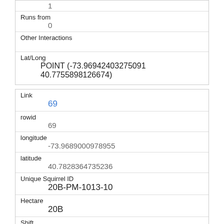| 1 |
| Runs from | 0 |
| Other Interactions |  |
| Lat/Long | POINT (-73.96942403275091 40.7755898126674) |
| Link | 69 |
| rowid | 69 |
| longitude | -73.9689000978955 |
| latitude | 40.7828364735236 |
| Unique Squirrel ID | 20B-PM-1013-10 |
| Hectare | 20B |
| Shift |  |